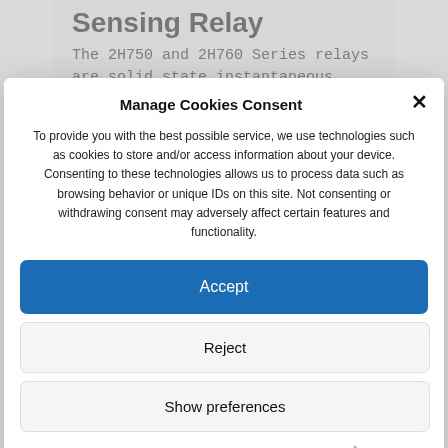Sensing Relay
The 2H750 and 2H760 Series relays are solid state instantaneous frequency
Manage Cookies Consent
To provide you with the best possible service, we use technologies such as cookies to store and/or access information about your device. Consenting to these technologies allows us to process data such as browsing behavior or unique IDs on this site. Not consenting or withdrawing consent may adversely affect certain features and functionality.
Accept
Reject
Show preferences
Zásady cookies   Zásady ochrany osobních údajů